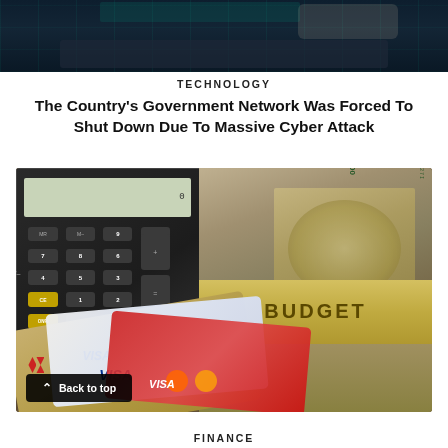[Figure (photo): Dark technology background with person typing on laptop with green digital overlay]
TECHNOLOGY
The Country's Government Network Was Forced To Shut Down Due To Massive Cyber Attack
[Figure (photo): Calculator, credit cards (VISA, Mastercard), and a bundle of US $100 bills with a gold 'BUDGET' band around them on a wooden surface. A 'Back to top' button overlay is visible in the lower left.]
FINANCE